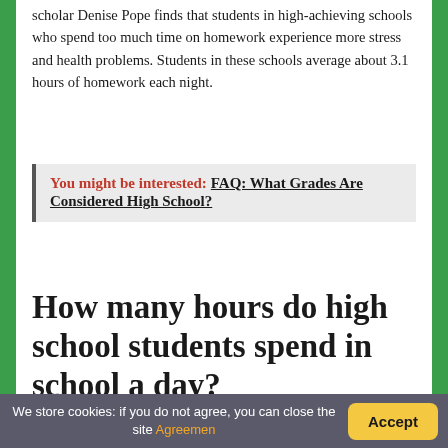scholar Denise Pope finds that students in high-achieving schools who spend too much time on homework experience more stress and health problems. Students in these schools average about 3.1 hours of homework each night.
You might be interested: FAQ: What Grades Are Considered High School?
How many hours do high school students spend in school a day?
We store cookies: if you do not agree, you can close the site Agreemen